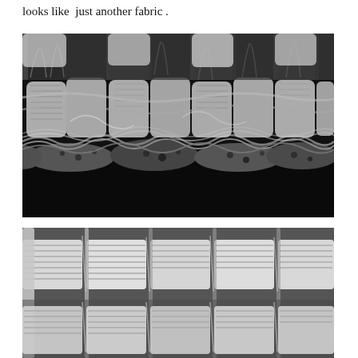looks like  just another fabric .
[Figure (photo): Scanning electron microscope cross-section image of a fabric material showing woven fiber bundles on top and a foam/porous layer beneath, all on a dark substrate. Black and white SEM image.]
[Figure (photo): Scanning electron microscope close-up image of woven fabric showing tightly bundled fiber yarns arranged in a regular weave pattern. Black and white SEM image.]